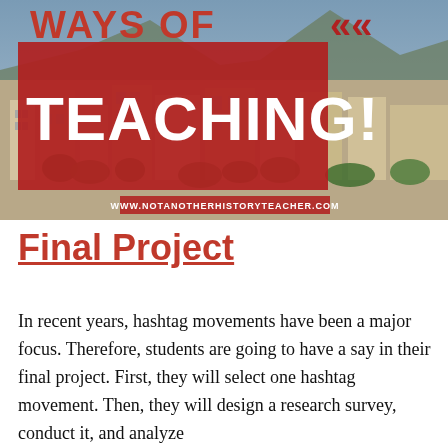[Figure (illustration): Banner image showing an aerial/cityscape photo background with red overlay box containing white bold text 'WAYS OF TEACHING!' and arrow chevrons. Website URL 'WWW.NOTANOTHERHISTORYTEACHER.COM' shown at the bottom of the image.]
Final Project
In recent years, hashtag movements have been a major focus. Therefore, students are going to have a say in their final project. First, they will select one hashtag movement. Then, they will design a research survey, conduct it, and analyze